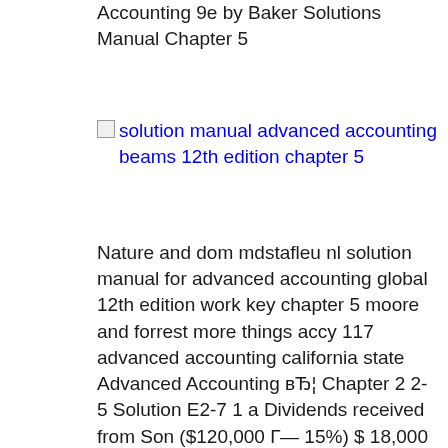Accounting 9e by Baker Solutions Manual Chapter 5
[Figure (other): Broken image placeholder with alt text: solution manual advanced accounting beams 12th edition chapter 5]
Nature and dom mdstafleu nl solution manual for advanced accounting global 12th edition work key chapter 5 moore and forrest more things accy 117 advanced accounting california state Advanced Accounting вЂ¦ Chapter 2 2-5 Solution E2-7 1 a Dividends received from Son ($120,000 Г— 15%) $ 18,000 Share of income since acquisition of interest 2016 ($20,000 Г— 15%) (3,000) 2017 ($80,000 Г— 15%) (12,000) Excess dividends received over